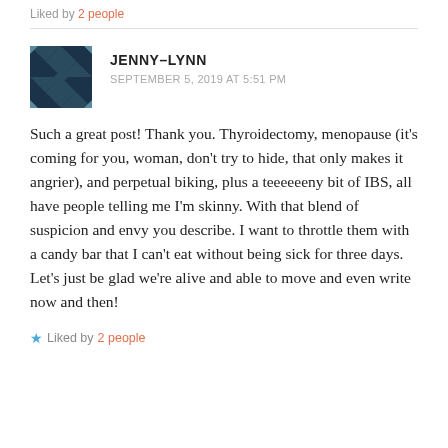Liked by 2 people
JENNY–LYNN
SEPTEMBER 5, 2019 AT 5:51 PM
Such a great post! Thank you. Thyroidectomy, menopause (it's coming for you, woman, don't try to hide, that only makes it angrier), and perpetual biking, plus a teeeeeeny bit of IBS, all have people telling me I'm skinny. With that blend of suspicion and envy you describe. I want to throttle them with a candy bar that I can't eat without being sick for three days. Let's just be glad we're alive and able to move and even write now and then!
Liked by 2 people